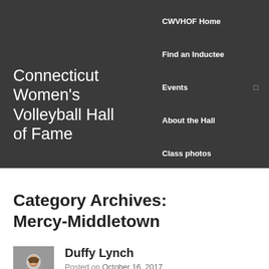Connecticut Women's Volleyball Hall of Fame
CWVHOF Home
Find an Inductee
Events
About the Hall
Class photos
Category Archives: Mercy-Middletown
[Figure (photo): Headshot photo of Duffy Lynch, a woman smiling]
Duffy Lynch
Posted on October 16, 2017